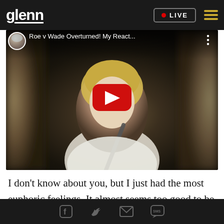glenn  •  LIVE
[Figure (screenshot): YouTube video thumbnail showing a woman with blonde hair in a white t-shirt sitting in a car. Video title: 'Roe v Wade Overturned! My React...' with a YouTube play button overlay.]
I don't know about you, but I just had the most euphoric feelings. It almost seems too good to be true. I didn't think there was any way that this would
Social share icons: Facebook, Twitter, Email, SMS